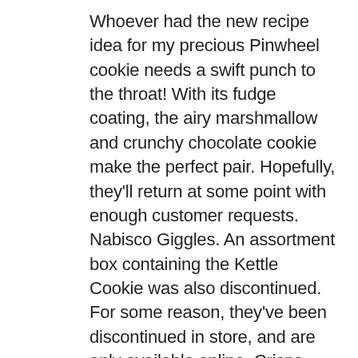Whoever had the new recipe idea for my precious Pinwheel cookie needs a swift punch to the throat! With its fudge coating, the airy marshmallow and crunchy chocolate cookie make the perfect pair. Hopefully, they'll return at some point with enough customer requests. Nabisco Giggles. An assortment box containing the Kettle Cookie was also discontinued. For some reason, they've been discontinued in store, and are only available online. Crisps. chocolate sandwiches cookies. The other day I was walking through the grocery store and a sudden realization hit me. Nabisco discontinued making Cameo Cookies in 2012. NEW Nabisco Red Velvet Chips Ahoy Cream Cheese Cookies Limited Edition. ... > Discontinued: 2006 > Maker: ABC Smart Cookies and Little Brownie Bakers. In 1984, Nabisco took "more is better" to a new extreme with the introduction of the Oreo Big Stuf, which was about 10 times the size of a normal Oreo. No, these are not the healthiest or